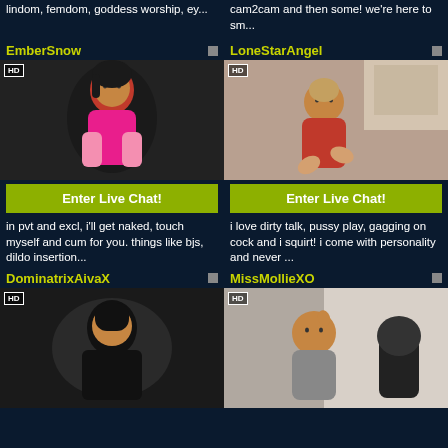lindom, femdom, goddess worship, ey...
cam2cam and then some! we're here to sm...
EmberSnow
LoneStarAngel
[Figure (photo): HD thumbnail of EmberSnow in pink top]
[Figure (photo): HD thumbnail of LoneStarAngel in red lingerie]
Enter Live Chat!
Enter Live Chat!
in pvt and excl, i'll get naked, touch myself and cum for you. things like bjs, dildo insertion...
i love dirty talk, pussy play, gagging on cock and i squirt! i come with personality and never ...
DominatrixAivaX
MissMollieXO
[Figure (photo): HD thumbnail of DominatrixAivaX in black latex]
[Figure (photo): HD thumbnail of MissMollieXO]